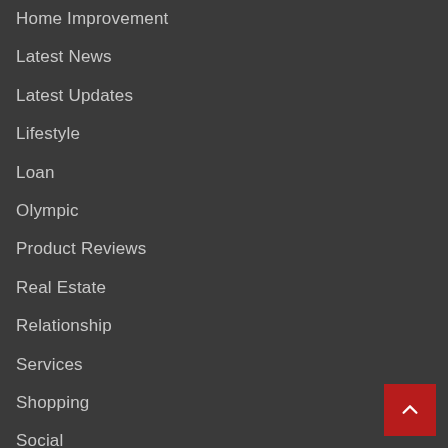Home Improvement
Latest News
Latest Updates
Lifestyle
Loan
Olympic
Product Reviews
Real Estate
Relationship
Services
Shopping
Social
Social Media
Sports
Tech News
Technology
Tourism